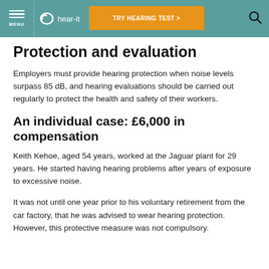hear-it | TRY HEARING TEST >
Protection and evaluation
Employers must provide hearing protection when noise levels surpass 85 dB, and hearing evaluations should be carried out regularly to protect the health and safety of their workers.
An individual case: £6,000 in compensation
Keith Kehoe, aged 54 years, worked at the Jaguar plant for 29 years. He started having hearing problems after years of exposure to excessive noise.
It was not until one year prior to his voluntary retirement from the car factory, that he was advised to wear hearing protection. However, this protective measure was not compulsory.